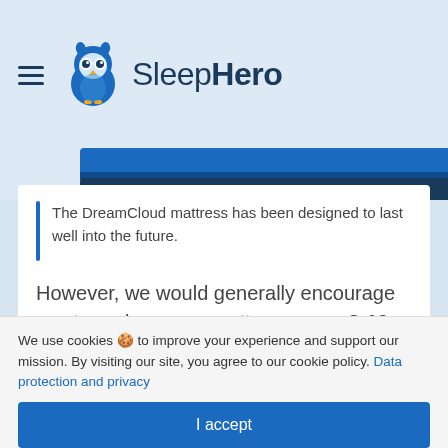SleepHero
[Figure (illustration): Partial view of a mattress with blue and orange/gold layers visible at the top of the content area]
The DreamCloud mattress has been designed to last well into the future.
However, we would generally encourage you to replace your mattress every 8-10 years depending on the condition.
We use cookies 🍪 to improve your experience and support our mission. By visiting our site, you agree to our cookie policy. Data protection and privacy
I accept